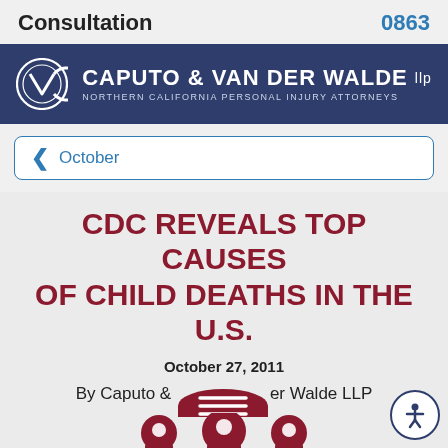Consultation   0863
[Figure (logo): Caputo & Van Der Walde LLP logo — dark navy background with circular CV monogram icon and firm name in white text, subtitle: NORTHERN CALIFORNIA PERSONAL INJURY ATTORNEYS]
< October
CDC REVEALS TOP CAUSES OF CHILD DEATHS IN THE U.S.
October 27, 2011
By Caputo & Van Der Walde LLP